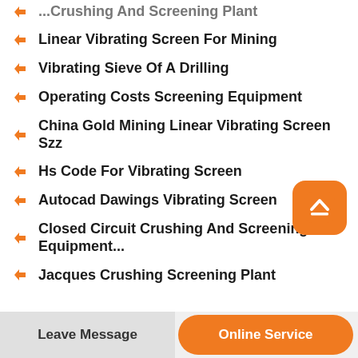Linear Vibrating Screen For Mining
Vibrating Sieve Of A Drilling
Operating Costs Screening Equipment
China Gold Mining Linear Vibrating Screen Szz
Hs Code For Vibrating Screen
Autocad Dawings Vibrating Screen
Closed Circuit Crushing And Screening Equipment...
Jacques Crushing Screening Plant
Leave Message  Online Service